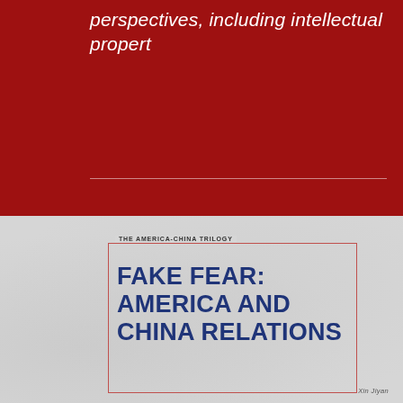perspectives, including intellectual propert
THE AMERICA-CHINA TRILOGY
FAKE FEAR: AMERICA AND CHINA RELATIONS
Xin Jiyan